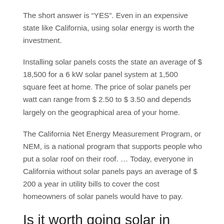The short answer is “YES”. Even in an expensive state like California, using solar energy is worth the investment.
Installing solar panels costs the state an average of $ 18,500 for a 6 kW solar panel system at 1,500 square feet at home. The price of solar panels per watt can range from $ 2.50 to $ 3.50 and depends largely on the geographical area of your home.
The California Net Energy Measurement Program, or NEM, is a national program that supports people who put a solar roof on their roof. … Today, everyone in California without solar panels pays an average of $ 200 a year in utility bills to cover the cost homeowners of solar panels would have to pay.
Is it worth going solar in California?
Review your electricity bill Solar panels generate their own electricity and can therefore significantly offset, if not eliminate,